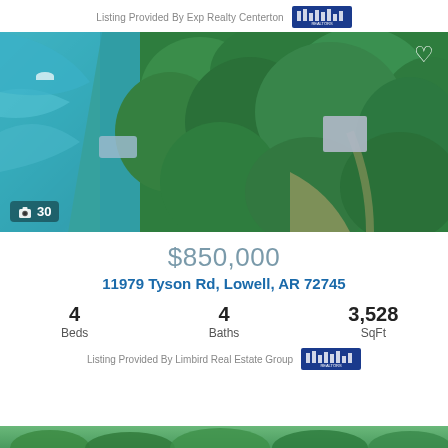Listing Provided By Exp Realty Centerton
[Figure (photo): Aerial view of lakefront property with green trees, a dock on the water, and a house visible through the trees. A boat is visible on the lake. Camera icon with '30' photos indicator.]
$850,000
11979 Tyson Rd, Lowell, AR 72745
4 Beds   4 Baths   3,528 SqFt
Listing Provided By Limbird Real Estate Group